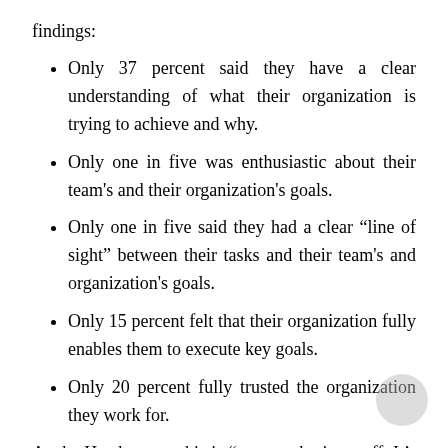findings:
Only 37 percent said they have a clear understanding of what their organization is trying to achieve and why.
Only one in five was enthusiastic about their team's and their organization's goals.
Only one in five said they had a clear “line of sight” between their tasks and their team’s and organization’s goals.
Only 15 percent felt that their organization fully enables them to execute key goals.
Only 20 percent fully trusted the organization they work for.
As the Heaths note, this is “pretty sobering stuff. It’s also pretty abstract. You probably walk away from these stats